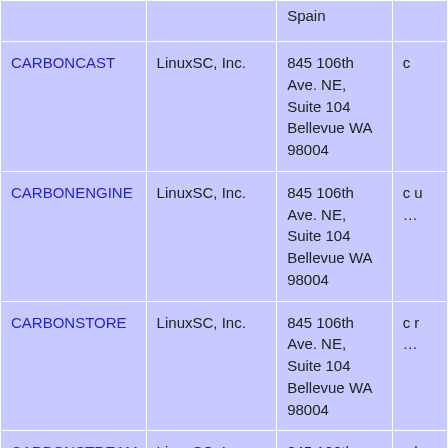| Mark | Owner | Address | ... |
| --- | --- | --- | --- |
| Spain |  |  |  |
| CARBONCAST | LinuxSC, Inc. | 845 106th Ave. NE, Suite 104 Bellevue WA 98004 | c... |
| CARBONENGINE | LinuxSC, Inc. | 845 106th Ave. NE, Suite 104 Bellevue WA 98004 | c u... |
| CARBONSTORE | LinuxSC, Inc. | 845 106th Ave. NE, Suite 104 Bellevue WA 98004 | c r... |
| CARBONSTREAM | LinuxSC, Inc. | 845 106th Ave. NE, Suite 104 Bellevue WA 98004 | c h... |
| CASHPOWER | Energy Measurements... | 60 Electron Avenue, Ioanda... | c... |